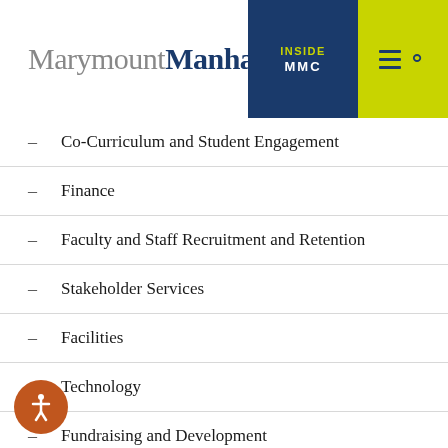MarymountManhattan — Inside MMC
Co-Curriculum and Student Engagement
Finance
Faculty and Staff Recruitment and Retention
Stakeholder Services
Facilities
Technology
Fundraising and Development
Marketing and Communications